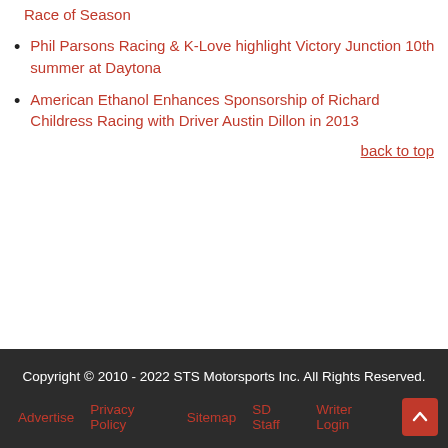Race of Season
Phil Parsons Racing & K-Love highlight Victory Junction 10th summer at Daytona
American Ethanol Enhances Sponsorship of Richard Childress Racing with Driver Austin Dillon in 2013
back to top
Copyright © 2010 - 2022 STS Motorsports Inc. All Rights Reserved.
Advertise   Privacy Policy   Sitemap   SD Staff   Writer Login